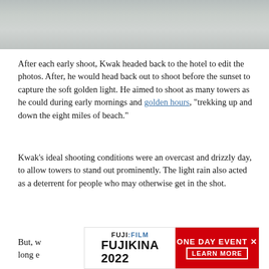[Figure (photo): Partial photo showing a textured gray/silver surface, likely water or metallic material, cropped at the top of the page.]
After each early shoot, Kwak headed back to the hotel to edit the photos. After, he would head back out to shoot before the sunset to capture the soft golden light. He aimed to shoot as many towers as he could during early mornings and golden hours, “trekking up and down the eight miles of beach.”
Kwak’s ideal shooting conditions were an overcast and drizzly day, to allow towers to stand out prominently. The light rain also acted as a deterrent for people who may otherwise get in the shot.
But, w… … … … … a long e… … … … … nd of
[Figure (screenshot): Advertisement banner for Fujifilm Fujikina 2022, One Day Event — Learn More, with red background on right side.]